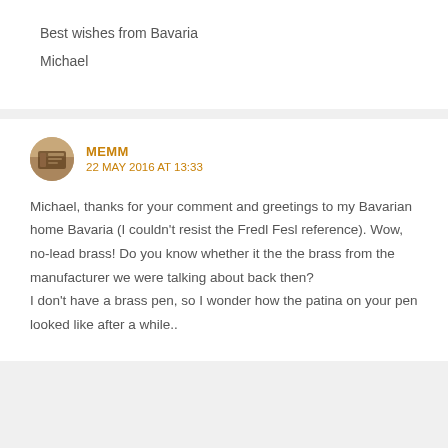Best wishes from Bavaria
Michael
MEMM
22 MAY 2016 AT 13:33
Michael, thanks for your comment and greetings to my Bavarian home Bavaria (I couldn't resist the Fredl Fesl reference). Wow, no-lead brass! Do you know whether it the the brass from the manufacturer we were talking about back then?
I don't have a brass pen, so I wonder how the patina on your pen looked like after a while..